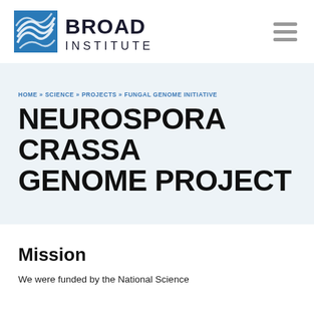[Figure (logo): Broad Institute logo with blue geometric icon and bold text reading BROAD INSTITUTE]
HOME » SCIENCE » PROJECTS » FUNGAL GENOME INITIATIVE
NEUROSPORA CRASSA GENOME PROJECT
Mission
We were funded by the National Science